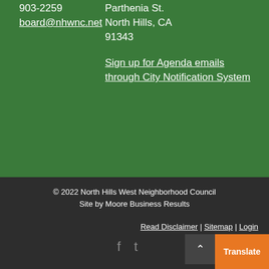903-2259
board@nhwnc.net
Parthenia St. North Hills, CA 91343
Sign up for Agenda emails through City Notification System
© 2022 North Hills West Neighborhood Council
Site by Moore Business Results
Read Disclaimer | Sitemap | Login
Translate